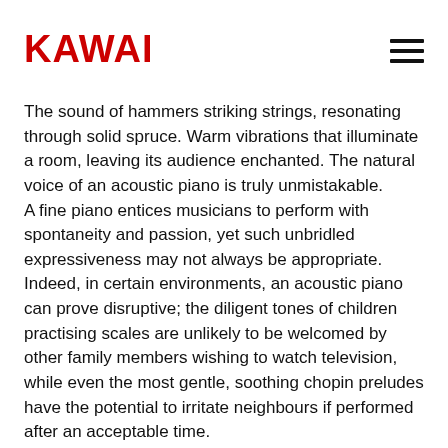KAWAI
The sound of hammers striking strings, resonating through solid spruce. Warm vibrations that illuminate a room, leaving its audience enchanted. The natural voice of an acoustic piano is truly unmistakable.
A fine piano entices musicians to perform with spontaneity and passion, yet such unbridled expressiveness may not always be appropriate. Indeed, in certain environments, an acoustic piano can prove disruptive; the diligent tones of children practising scales are unlikely to be welcomed by other family members wishing to watch television, while even the most gentle, soothing chopin preludes have the potential to irritate neighbours if performed after an acceptable time.
Fortunately, AnyTimeX2 instruments incorporate an acoustic muting feature with powerful digital audio components, allowing pianists to continue enjoying the